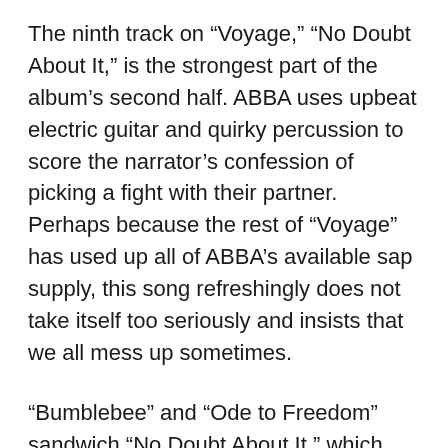The ninth track on “Voyage,” “No Doubt About It,” is the strongest part of the album’s second half. ABBA uses upbeat electric guitar and quirky percussion to score the narrator’s confession of picking a fight with their partner. Perhaps because the rest of “Voyage” has used up all of ABBA’s available sap supply, this song refreshingly does not take itself too seriously and insists that we all mess up sometimes.
“Bumblebee” and “Ode to Freedom” sandwich “No Doubt About It,” which would have been an exciting close to “Voyage” instead of the melancholy “Ode to Freedom.” The ode includes a lovely assemblage of strings, which is unusual for the disco/pop group. Though, the track gets a little too unusual with the constant harmonious singing